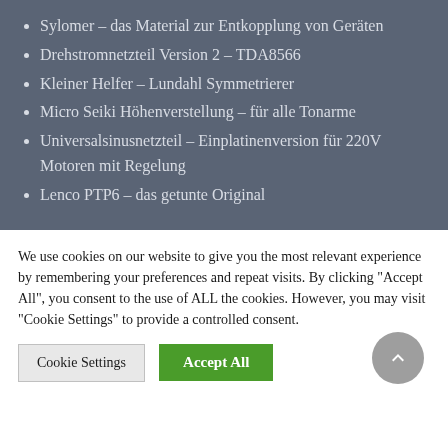Sylomer – das Material zur Entkopplung von Geräten
Drehstromnetzteil Version 2 – TDA8566
Kleiner Helfer – Lundahl Symmetrierer
Micro Seiki Höhenverstellung – für alle Tonarme
Universalsinusnetzteil – Einplatinenversion für 220V Motoren mit Regelung
Lenco PTP6 – das getunte Original
We use cookies on our website to give you the most relevant experience by remembering your preferences and repeat visits. By clicking "Accept All", you consent to the use of ALL the cookies. However, you may visit "Cookie Settings" to provide a controlled consent.